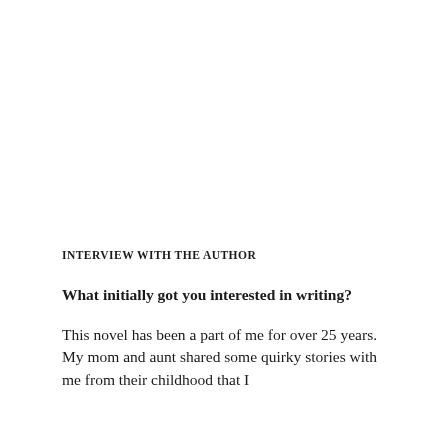INTERVIEW WITH THE AUTHOR
What initially got you interested in writing?
This novel has been a part of me for over 25 years. My mom and aunt shared some quirky stories with me from their childhood that I